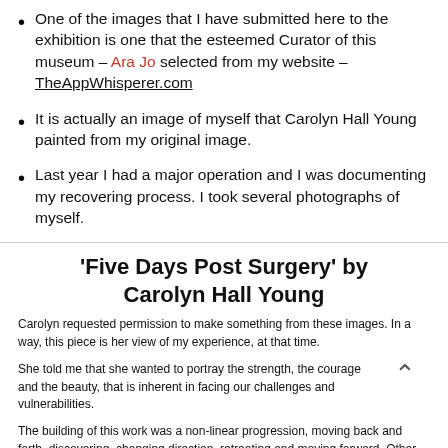One of the images that I have submitted here to the exhibition is one that the esteemed Curator of this museum – Ara Jo selected from my website – TheAppWhisperer.com
It is actually an image of myself that Carolyn Hall Young painted from my original image.
Last year I had a major operation and I was documenting my recovering process. I took several photographs of myself.
'Five Days Post Surgery' by Carolyn Hall Young
Carolyn requested permission to make something from these images. In a way, this piece is her view of my experience, at that time.
She told me that she wanted to portray the strength, the courage and the beauty, that is inherent in facing our challenges and vulnerabilities.
The building of this work was a non-linear progression, moving back and forth, discovering, changing direction, retreating and moving forward. Other times, she may have an idea, and finds a way of telling a story, with a